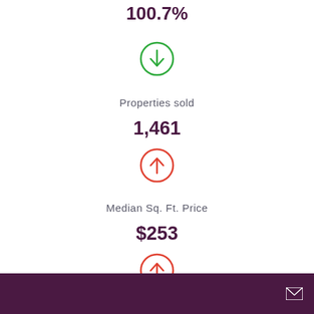100.7%
[Figure (infographic): Green circle with downward arrow icon]
Properties sold
1,461
[Figure (infographic): Red/orange circle with upward arrow icon]
Median Sq. Ft. Price
$253
[Figure (infographic): Red/orange circle with upward arrow icon]